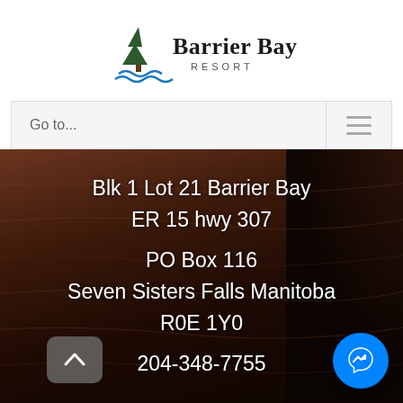[Figure (logo): Barrier Bay Resort logo with pine tree and water wave graphic]
Go to...
Blk 1 Lot 21 Barrier Bay
ER 15 hwy 307
PO Box 116
Seven Sisters Falls Manitoba
R0E 1Y0
204-348-7755
[Figure (photo): Dark wooden background with partial view of a dark helmet/object on right side]
[Figure (other): Back to top arrow button (grey rounded square)]
[Figure (other): Facebook Messenger chat button (blue circle with lightning bolt icon)]